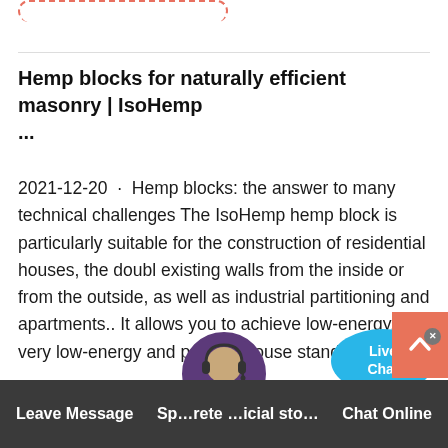[Figure (other): Dashed orange border partial shape at top]
Hemp blocks for naturally efficient masonry | IsoHemp ...
2021-12-20 · Hemp blocks: the answer to many technical challenges The IsoHemp hemp block is particularly suitable for the construction of residential houses, the doubl existing walls from the inside or from the outside, as well as industrial partitioning and apartments.. It allows you to achieve low-energy, very low-energy and passive house standards.
[Figure (other): Live Chat speech bubble widget overlay]
[Figure (other): Read More dashed button]
[Figure (other): Back to top orange button with chevron]
Leave Message  Sp...rete ...icial sto...  Chat Online